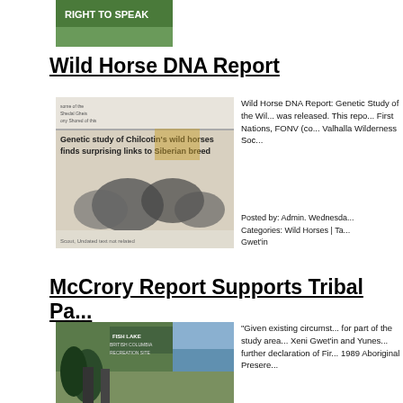[Figure (photo): Protest banner reading RIGHT TO SPEAK]
Wild Horse DNA Report
[Figure (photo): Newspaper clipping: Genetic study of Chilcotin's wild horses finds surprising links to Siberian breed]
Wild Horse DNA Report: Genetic Study of the Wild... was released. This repo... First Nations, FONV (co... Valhalla Wilderness Soc...
Posted by: Admin. Wednesda... Categories: Wild Horses | Ta... Gwet'in
McCrory Report Supports Tribal Pa...
[Figure (photo): Photo of Fish Lake, British Columbia recreation site sign with two people standing nearby]
"Given existing circumst... for part of the study area... Xeni Gwet'in and Yunes... further declaration of Fir... 1989 Aboriginal Presere...